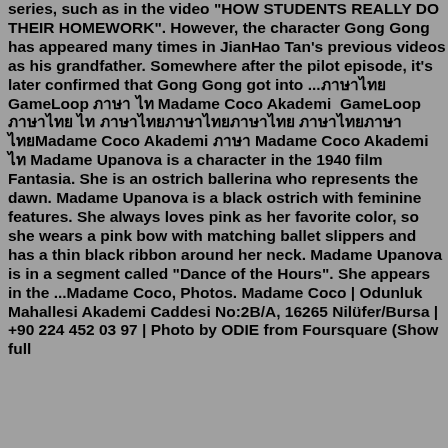series, such as in the video "HOW STUDENTS REALLY DO THEIR HOMEWORK". However, the character Gong Gong has appeared many times in JianHao Tan's previous videos as his grandfather. Somewhere after the pilot episode, it's later confirmed that Gong Gong got into ...ภาษาไทย GameLoop ภาษา ไท Madame Coco Akademi​ ​ GameLoop ภาษาไทย ไท ภาษาไทยภาษา​ไทยภาษา​ไทย ภาษาไทยภาษา​ไทยMadame Coco Akademi ภาษา Madame Coco Akademi ไท Madame Upanova is a character in the 1940 film Fantasia. She is an ostrich ballerina who represents the dawn. Madame Upanova is a black ostrich with feminine features. She always loves pink as her favorite color, so she wears a pink bow with matching ballet slippers and has a thin black ribbon around her neck. Madame Upanova is in a segment called "Dance of the Hours". She appears in the ...Madame Coco, Photos. Madame Coco | Odunluk Mahallesi Akademi Caddesi No:2B/A, 16265 Nilüfer/Bursa | +90 224 452 03 97 | Photo by ODIE from Foursquare (Show full ...